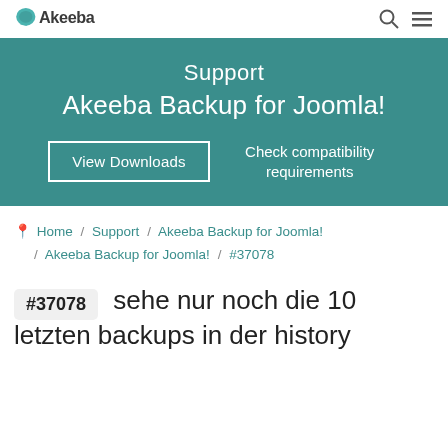Akeeba logo | search icon | menu icon
[Figure (infographic): Teal hero banner with text: Support / Akeeba Backup for Joomla! / View Downloads button / Check compatibility requirements link]
Home / Support / Akeeba Backup for Joomla! / Akeeba Backup for Joomla! / #37078
#37078 sehe nur noch die 10 letzten backups in der history